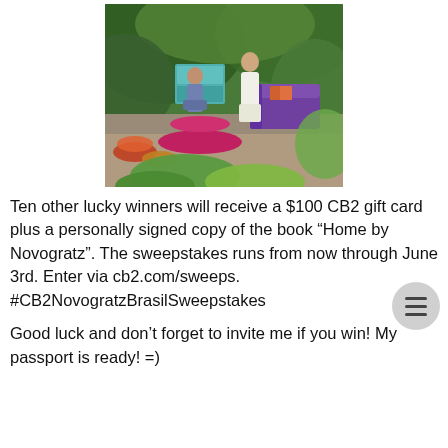[Figure (photo): Outdoor garden scene with two people sitting near colorful modern furniture including a purple sofa, teal cabinet, and a round magenta/red table on a stone patio surrounded by lush green plants]
Ten other lucky winners will receive a $100 CB2 gift card plus a personally signed copy of the book “Home by Novogratz”. The sweepstakes runs from now through June 3rd. Enter via cb2.com/sweeps. #CB2NovogratzBrasilSweepstakes
Good luck and don’t forget to invite me if you win! My passport is ready! =)